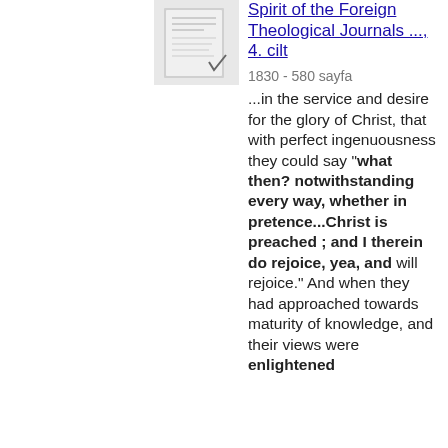[Figure (other): Thumbnail image of a book or document cover]
Spirit of the Foreign Theological Journals ..., 4. cilt
1830 - 580 sayfa
...in the service and desire for the glory of Christ, that with perfect ingenuousness they could say "what then? notwithstanding every way, whether in pretence...Christ is preached ; and I therein do rejoice, yea, and will rejoice." And when they had approached towards maturity of knowledge, and their views were enlightened